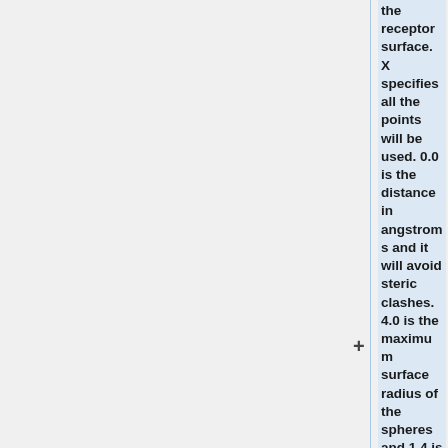the receptor surface. X specifies all the points will be used. 0.0 is the distance in angstroms and it will avoid steric clashes. 4.0 is the maximum surface radius of the spheres and 1.4 is the minimum radius in angstroms.The last line 2BXF_spheres.sph creates the sph file that contains clustered